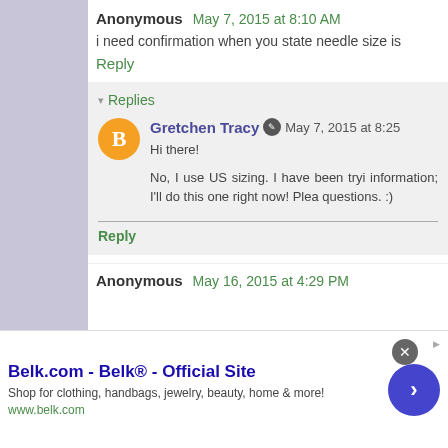Anonymous May 7, 2015 at 8:10 AM
i need confirmation when you state needle size is
Reply
▾ Replies
Gretchen Tracy ✎ May 7, 2015 at 8:25
Hi there!
No, I use US sizing. I have been tryi information; I'll do this one right now! Plea questions. :)
Reply
Anonymous May 16, 2015 at 4:29 PM
Belk.com - Belk® - Official Site
Shop for clothing, handbags, jewelry, beauty, home & more!
www.belk.com